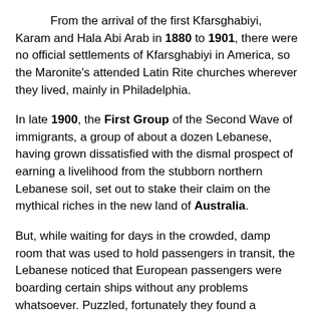From the arrival of the first Kfarsghabiyi, Karam and Hala Abi Arab in 1880 to 1901, there were no official settlements of Kfarsghabiyi in America, so the Maronite's attended Latin Rite churches wherever they lived, mainly in Philadelphia.
In late 1900, the First Group of the Second Wave of immigrants, a group of about a dozen Lebanese, having grown dissatisfied with the dismal prospect of earning a livelihood from the stubborn northern Lebanese soil, set out to stake their claim on the mythical riches in the new land of Australia.
But, while waiting for days in the crowded, damp room that was used to hold passengers in transit, the Lebanese noticed that European passengers were boarding certain ships without any problems whatsoever. Puzzled, fortunately they found a Lebanese shipping agent in Marseilles and asked why it was that others wishing to board for Australia were able to do so with such ease, while they had been kept waiting for days. The group was told that those in the fast moving lines